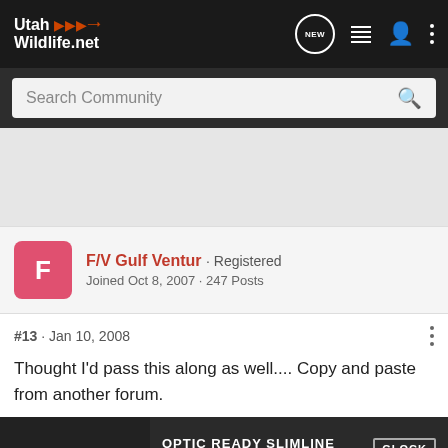[Figure (screenshot): UtahWildlife.net forum screenshot showing navigation bar with logo, search community bar, user profile for F/V Gulf Ventur, post #13 from Jan 10 2008, post text, and a Glock advertisement banner at the bottom.]
Utah Wildlife.net
Search Community
F/V Gulf Ventur · Registered
Joined Oct 8, 2007 · 247 Posts
#13 · Jan 10, 2008
Thought I'd pass this along as well.... Copy and paste from another forum.
[Figure (photo): Glock advertisement banner: OPTIC READY SLIMLINE MOS FIND A DEALER with Glock logo and pistol image]